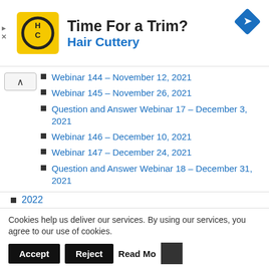[Figure (logo): Hair Cuttery advertisement banner with HC logo, 'Time For a Trim?' heading, 'Hair Cuttery' subtitle in blue, and a blue diamond navigation icon]
Webinar 144 – November 12, 2021
Webinar 145 – November 26, 2021
Question and Answer Webinar 17 – December 3, 2021
Webinar 146 – December 10, 2021
Webinar 147 – December 24, 2021
Question and Answer Webinar 18 – December 31, 2021
2022
Webinar 148 – January 7, 2022
Cookies help us deliver our services. By using our services, you agree to our use of cookies.